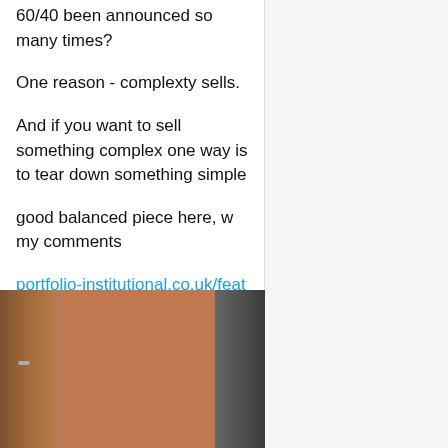60/40 been announced so many times?
One reason - complexty sells.
And if you want to sell something complex one way is to tear down something simple
good balanced piece here, w my comments
portfolio-institutional.co.uk/features/60-40…
[Figure (photo): Two doors side by side — a wooden door on the left and a metal/grey door on the right, separated by a brick wall section in the middle.]